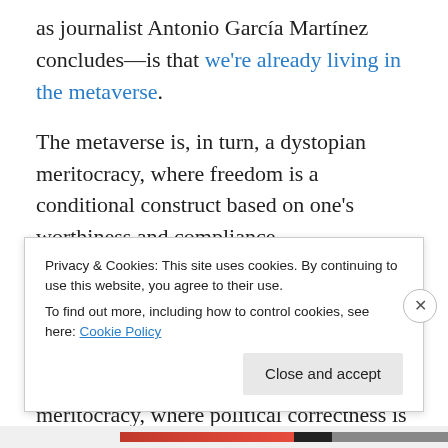as journalist Antonio García Martínez concludes—is that we're already living in the metaverse.
The metaverse is, in turn, a dystopian meritocracy, where freedom is a conditional construct based on one's worthiness and compliance.
In a meritocracy, rights are privileges, afforded to those who have earned them. There can be no tolerance for independence or individuality in a meritocracy, where political correctness is formalized, legalized and institutionalized...
Privacy & Cookies: This site uses cookies. By continuing to use this website, you agree to their use. To find out more, including how to control cookies, see here: Cookie Policy